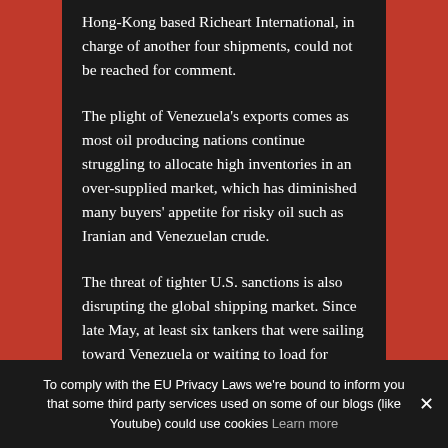Hong-Kong based Richeart International, in charge of another four shipments, could not be reached for comment.
The plight of Venezuela's exports comes as most oil producing nations continue struggling to allocate high inventories in an over-supplied market, which has diminished many buyers' appetite for risky oil such as Iranian and Venezuelan crude.
The threat of tighter U.S. sanctions is also disrupting the global shipping market. Since late May, at least six tankers that were sailing toward Venezuela or waiting to load for exports have been diverted as the United States considers blacklisting more vessels and shipping firms over alleged sanction violations.-Reuters
To comply with the EU Privacy Laws we're bound to inform you that some third party services used on some of our blogs (like Youtube) could use cookies Learn more